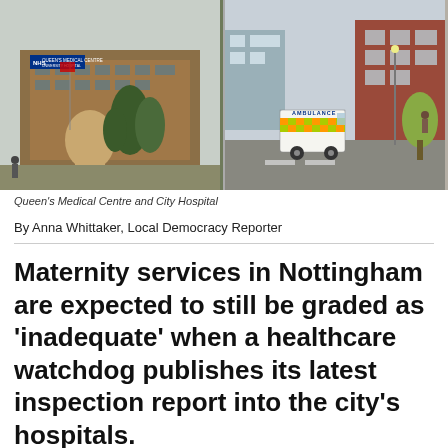[Figure (photo): Two side-by-side photos: left shows Queen's Medical Centre University Hospital building with trees and a flag; right shows an ambulance on a street outside a red-brick hospital building.]
Queen's Medical Centre and City Hospital
By Anna Whittaker, Local Democracy Reporter
Maternity services in Nottingham are expected to still be graded as ‘inadequate’ when a healthcare watchdog publishes its latest inspection report into the city’s hospitals.
Maternity services at Nottingham’s city hospitals...